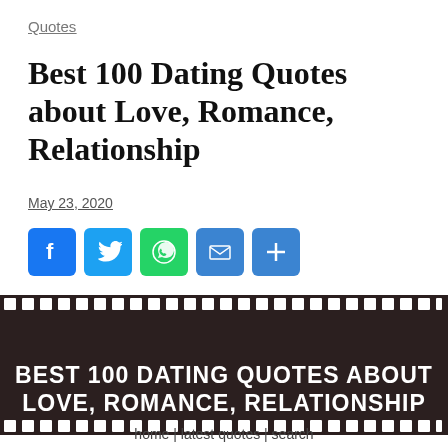Quotes
Best 100 Dating Quotes about Love, Romance, Relationship
May 23, 2020
[Figure (infographic): Social share buttons: Facebook (blue f), Twitter (blue bird), WhatsApp (green phone), Email (blue envelope), More (blue plus)]
[Figure (illustration): Film strip banner with dark brown background and white perforations along the top and bottom edges. Text reads: BEST 100 DATING QUOTES ABOUT LOVE, ROMANCE, RELATIONSHIP]
home | latest quotes | search